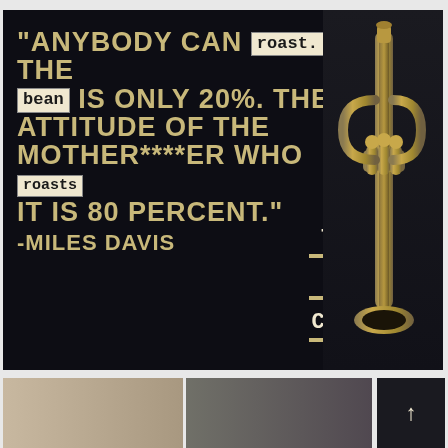[Figure (illustration): Dark background advertisement image for Three Keys Coffee featuring a Miles Davis quote about playing/roasting with trumpet on right side and brand name at bottom right. Quote text with inline highlighted words 'roast.' and 'bean' and 'roasts' in typewriter-style boxes overlaid on the main quote text.]
[Figure (photo): Bottom strip showing partial photos, left side appears to be a person, right side appears darker.]